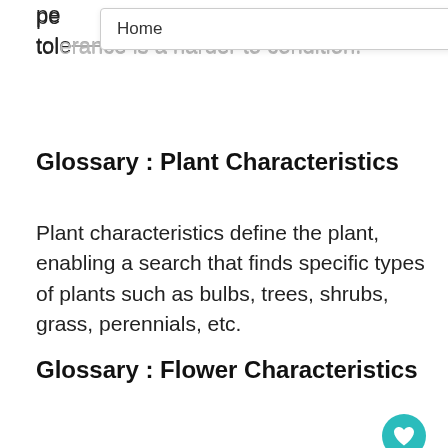pe…
tole…nce is a harder to condition.
Glossary : Plant Characteristics
Plant characteristics define the plant, enabling a search that finds specific types of plants such as bulbs, trees, shrubs, grass, perennials, etc.
Glossary : Flower Characteristics
Flower characteristics can vary greatly and may help you decide on a ""look or feel"" for your garden. If you're looking for fragrance or large, showy flowers, click these bo… possibilities that fit your cultural conditions will be shown. If you have no preference, leave…